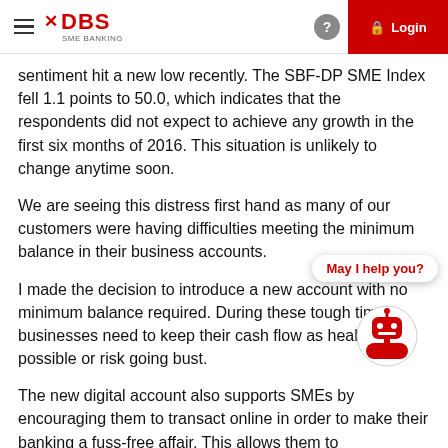DBS SME BANKING — Login
sentiment hit a new low recently. The SBF-DP SME Index fell 1.1 points to 50.0, which indicates that the respondents did not expect to achieve any growth in the first six months of 2016. This situation is unlikely to change anytime soon.
We are seeing this distress first hand as many of our customers were having difficulties meeting the minimum balance in their business accounts.
I made the decision to introduce a new account with no minimum balance required. During these tough times, businesses need to keep their cash flow as healthy as possible or risk going bust.
The new digital account also supports SMEs by encouraging them to transact online in order to make their banking a fuss-free affair. This allows them to